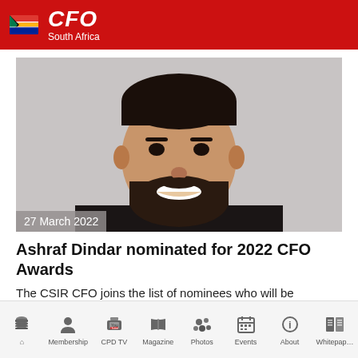CFO South Africa
[Figure (photo): Headshot portrait of Ashraf Dindar, a bearded man smiling, wearing a dark suit, against a grey background. Date overlay reads '27 March 2022'.]
Ashraf Dindar nominated for 2022 CFO Awards
The CSIR CFO joins the list of nominees who will be competing for the prestigious CFO of the Year title.
Membership | CPD TV | Magazine | Photos | Events | About | Whitepaper